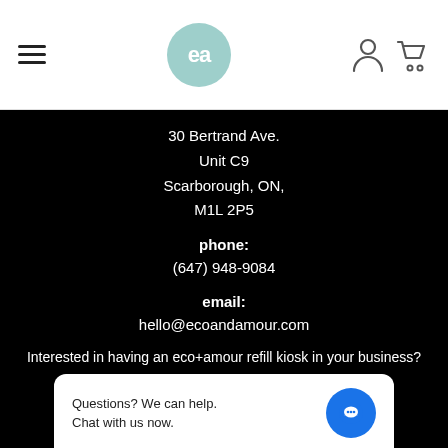[Figure (logo): eco+amour logo — circle with 'ea' text in mint/teal color, hamburger menu icon on left, person and cart icons on right]
30 Bertrand Ave.
Unit C9
Scarborough, ON,
M1L 2P5
phone:
(647) 948-9084
email:
hello@ecoandamour.com
Interested in having an eco+amour refill kiosk in your business? Click here
Questions? We can help.
Chat with us now.